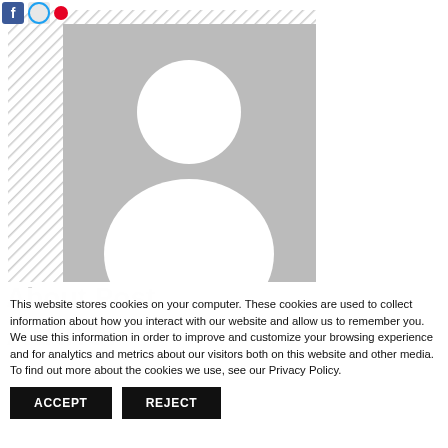[Figure (illustration): Social media share icons (Facebook blue square, Twitter blue circle, Pinterest red dot) at top left]
[Figure (photo): Default user profile placeholder image: gray background with white silhouette of a person (circle head, rounded body), shown inside a hatched/patterned border frame]
About Post
Author
This website stores cookies on your computer. These cookies are used to collect information about how you interact with our website and allow us to remember you. We use this information in order to improve and customize your browsing experience and for analytics and metrics about our visitors both on this website and other media. To find out more about the cookies we use, see our Privacy Policy.
ACCEPT
REJECT